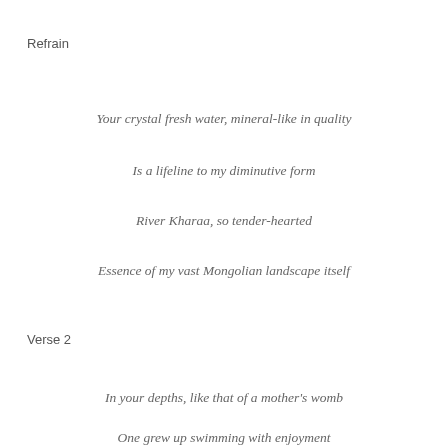Refrain
Your crystal fresh water, mineral-like in quality
Is a lifeline to my diminutive form
River Kharaa, so tender-hearted
Essence of my vast Mongolian landscape itself
Verse 2
In your depths, like that of a mother's womb
One grew up swimming with enjoyment